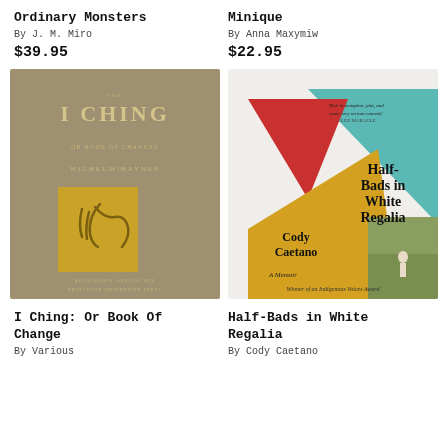Ordinary Monsters
By J. M. Miro
$39.95
Minique
By Anna Maxymiw
$22.95
[Figure (illustration): Book cover of 'The I Ching or Book of Changes' by Wilhelm/Baynes, Princeton University Press. Taupe/brown background with stylized calligraphic symbol on a golden rectangle.]
[Figure (illustration): Book cover of 'Half-Bads in White Regalia' by Cody Caetano, A Memoir. Geometric design with teal, red, and yellow triangles with a photo of a person in a field.]
I Ching: Or Book Of Change
By Various
Half-Bads in White Regalia
By Cody Caetano